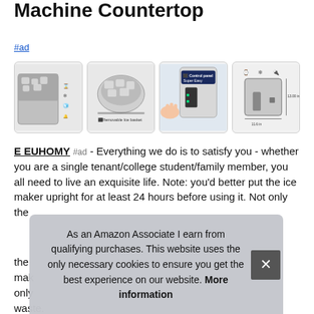Machine Countertop
#ad
[Figure (photo): Four product photos of an ice maker machine: (1) ice maker with ice cubes and icons, (2) removable ice basket with ice, (3) control panel close-up with hand, (4) product dimensions diagram]
E EUHOMY #ad - Everything we do is to satisfy you - whether you are a single tenant/college student/family member, you all need to live an exquisite life. Note: you'd better put the ice maker upright for at least 24 hours before using it. Not only the [obscured] the [obscured] mak[obscured] only [obscured] waste.
As an Amazon Associate I earn from qualifying purchases. This website uses the only necessary cookies to ensure you get the best experience on our website. More information